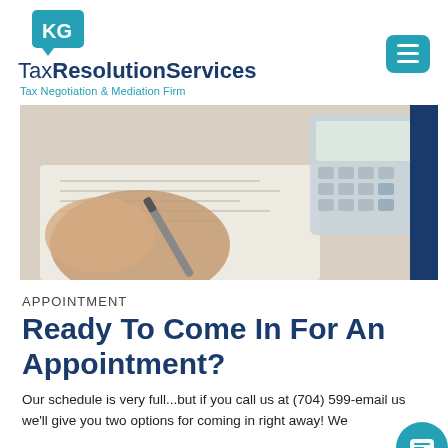KG TaxResolutionServices — Tax Negotiation & Mediation Firm
[Figure (photo): Close-up photo of a person writing with a pen on paper with a calculator in the background — tax/accounting scene]
APPOINTMENT
Ready To Come In For An Appointment?
Our schedule is very full...but if you call us at (704) 599-[obscured] email us we'll give you two options for coming in right away! We